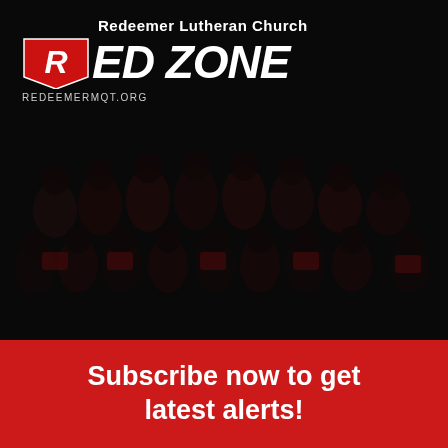[Figure (photo): Dark-toned group photo of a women's tennis team wearing red and black uniforms, posed together on a court, with a dark overlay. The Redeemer Lutheran Church Red Zone logo and website redeemermqt.org appear at the top.]
Subscribe now to get latest alerts!